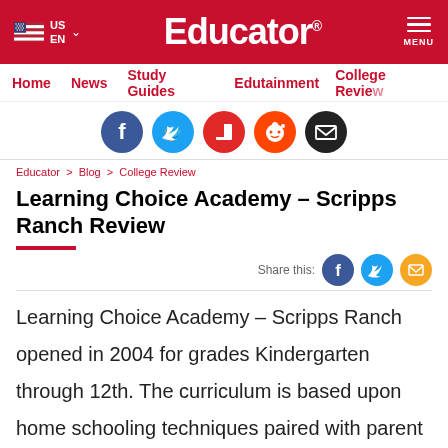Educator
Home | News | Study Guides | Edutainment | College Review
[Figure (infographic): Social sharing icons: Facebook, Twitter, Flipboard, Reddit, Email]
Educator > Blog > College Review
Learning Choice Academy – Scripps Ranch Review
[Figure (infographic): Share this: Facebook, Twitter, Email icons]
Learning Choice Academy – Scripps Ranch opened in 2004 for grades Kindergarten through 12th. The curriculum is based upon home schooling techniques paired with parent participation. The focus is on the whole needs of